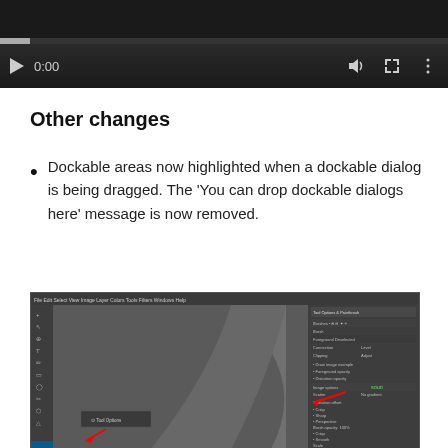[Figure (screenshot): Video player interface showing a dark themed player with play button showing 0:00 timestamp, volume icon, fullscreen icon, and options icon, with a progress bar at the bottom]
Other changes
Dockable areas now highlighted when a dockable dialog is being dragged. The ‘You can drop dockable dialogs here’ message is now removed.
[Figure (screenshot): GIMP application screenshot showing the main canvas area with toolbox on the left, a dark canvas with a curved shape, and dockable dialogs panel on the right with a red arrow pointing to docking area. A tool options dialog is shown being dragged near the bottom left with a red arrow indicating its position.]